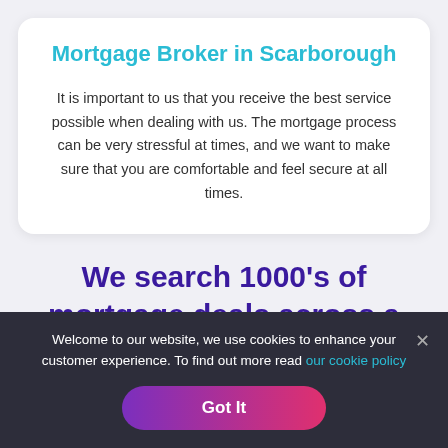Mortgage Broker in Scarborough
It is important to us that you receive the best service possible when dealing with us. The mortgage process can be very stressful at times, and we want to make sure that you are comfortable and feel secure at all times.
We search 1000's of mortgage deals across a
Welcome to our website, we use cookies to enhance your customer experience. To find out more read our cookie policy
Got It